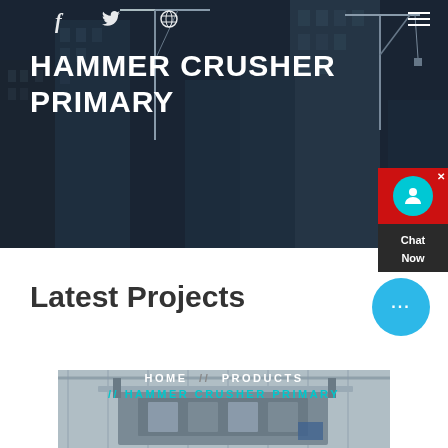f  (twitter)  (dribbble)
HAMMER CRUSHER PRIMARY
HOME // PRODUCTS // HAMMER CRUSHER PRIMARY
Latest Projects
[Figure (photo): Industrial hammer crusher machinery inside a large facility with ceiling trusses visible]
[Figure (other): Red chat widget with avatar icon and Chat Now label, and blue circular chat bubble with ellipsis dots]